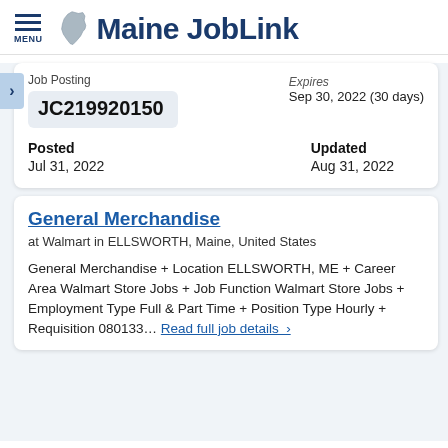Maine JobLink
Job Posting JC219920150
Expires Sep 30, 2022 (30 days)
Posted Jul 31, 2022
Updated Aug 31, 2022
General Merchandise
at Walmart in ELLSWORTH, Maine, United States
General Merchandise + Location ELLSWORTH, ME + Career Area Walmart Store Jobs + Job Function Walmart Store Jobs + Employment Type Full & Part Time + Position Type Hourly + Requisition 080133... Read full job details >